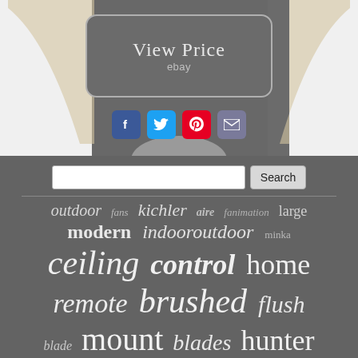[Figure (screenshot): View Price button on eBay with rounded rectangle border on gray background, with ceiling fan blades visible in background]
[Figure (infographic): Social media sharing icons: Facebook (blue), Twitter (blue), Pinterest (red), Email (gray-blue)]
[Figure (infographic): Search bar with text input and Search button on gray background]
outdoor fans kichler aire fanimation large modern indooroutdoor minka ceiling control home remote brushed flush blade mount blades hunter light kensgrove finish collection inch lighting